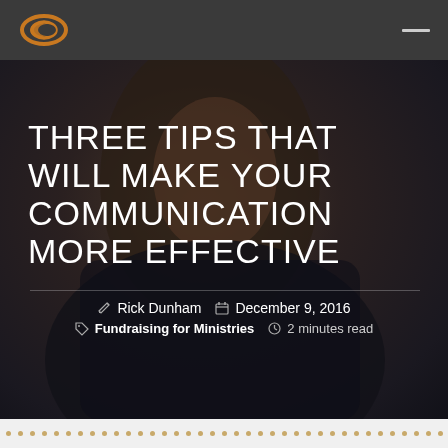Dunham+Company logo and navigation
[Figure (photo): Dark background photo of a woman with blonde wavy hair, wearing a dark patterned jacket, looking upward. The image serves as a hero background for the blog post title.]
THREE TIPS THAT WILL MAKE YOUR COMMUNICATION MORE EFFECTIVE
Rick Dunham  December 9, 2016  Fundraising for Ministries  2 minutes read
Decorative dotted border row